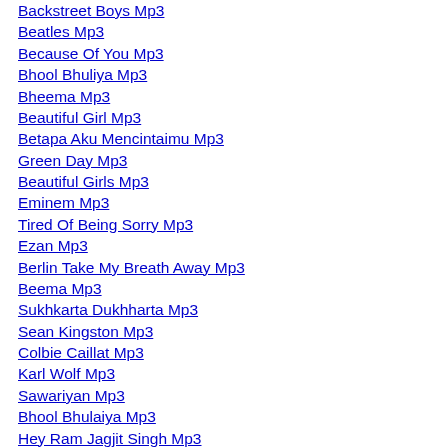Backstreet Boys Mp3
Beatles Mp3
Because Of You Mp3
Bhool Bhuliya Mp3
Bheema Mp3
Beautiful Girl Mp3
Betapa Aku Mencintaimu Mp3
Green Day Mp3
Beautiful Girls Mp3
Eminem Mp3
Tired Of Being Sorry Mp3
Ezan Mp3
Berlin Take My Breath Away Mp3
Beema Mp3
Sukhkarta Dukhharta Mp3
Sean Kingston Mp3
Colbie Caillat Mp3
Karl Wolf Mp3
Sawariyan Mp3
Bhool Bhulaiya Mp3
Hey Ram Jagjit Singh Mp3
Colbie Caillat Mp3
Britney Spears Mp3
Colbie Caillat Mp3
Billy Kidman Mp3
Soldiers Of Allah Mp3